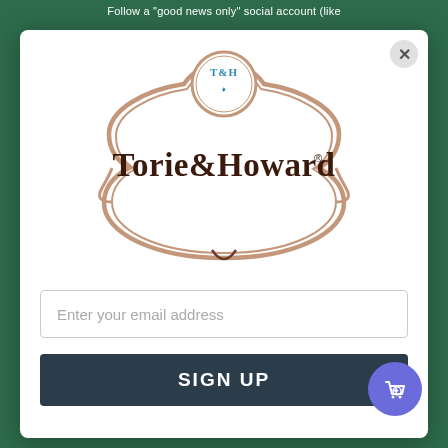Follow a "good news only" social account (like
[Figure (logo): Torie & Howard brand logo: ornate brown decorative frame with monogram circle on top and 'Torie & Howard®' text inside]
Enter your email address
SIGN UP